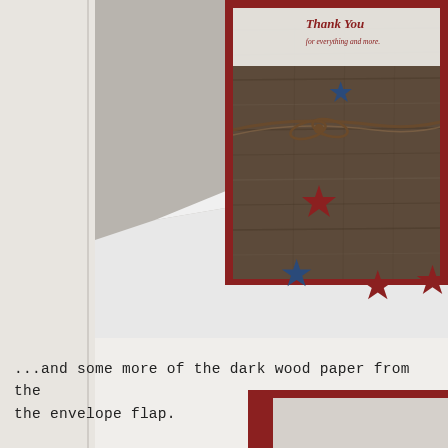[Figure (photo): Patriotic handmade greeting card with dark wood-textured background, wine/dark red border, blue and red star embellishments, twine bow, and 'Thank you for everything and more.' text. Card is propped up on a white envelope which also has blue and red star stamps on it.]
...and some more of the dark wood paper from the envelope flap.
[Figure (photo): Partial view of another handmade card with similar patriotic styling and dark red/wine border visible at bottom right corner of page.]